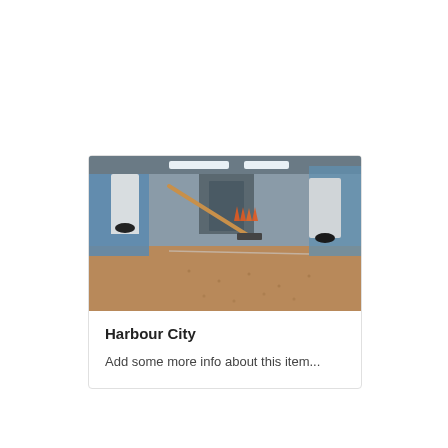[Figure (photo): Workers in white protective suits applying flooring coating in an indoor parking or industrial space. Blue plastic sheeting lines the walls, orange traffic cones visible in the background, a squeegee tool being used on the floor.]
Harbour City
Add some more info about this item...